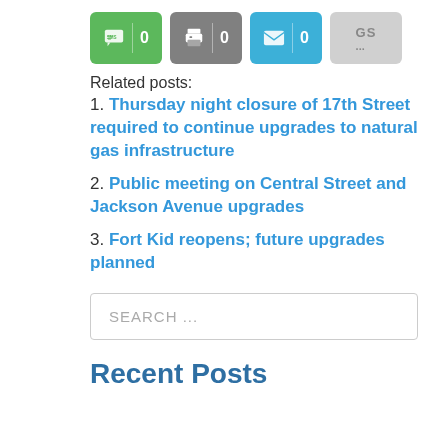[Figure (screenshot): Row of four share/action buttons: SMS (green, count 0), Print (gray, count 0), Email (blue, count 0), GS (light gray, '...')]
Related posts:
1. Thursday night closure of 17th Street required to continue upgrades to natural gas infrastructure
2. Public meeting on Central Street and Jackson Avenue upgrades
3. Fort Kid reopens; future upgrades planned
SEARCH ...
Recent Posts